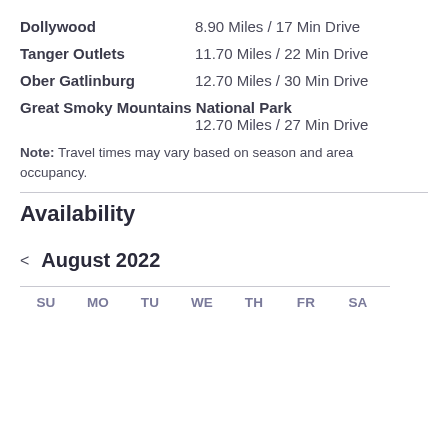Dollywood  8.90 Miles / 17 Min Drive
Tanger Outlets  11.70 Miles / 22 Min Drive
Ober Gatlinburg  12.70 Miles / 30 Min Drive
Great Smoky Mountains National Park  12.70 Miles / 27 Min Drive
Note: Travel times may vary based on season and area occupancy.
Availability
< August 2022
SU  MO  TU  WE  TH  FR  SA